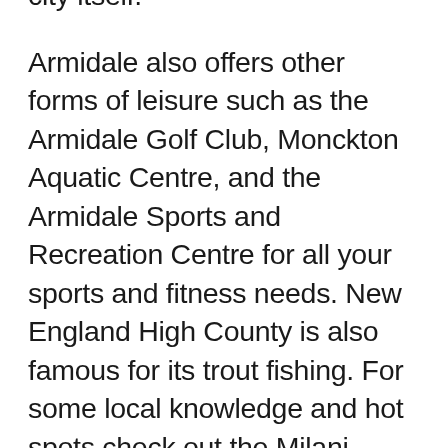farmland as you approach the city itself.
Armidale also offers other forms of leisure such as the Armidale Golf Club, Monckton Aquatic Centre, and the Armidale Sports and Recreation Centre for all your sports and fitness needs. New England High County is also famous for its trout fishing. For some local knowledge and hot spots check out the Milani Trout Cottages and Dutton Trout Hatchery. To plan a Heli-Fishing flight, visit the airport's Fleet Helicopters. Finally, Armidale is only a few kilometers away from popular whale watching sites.